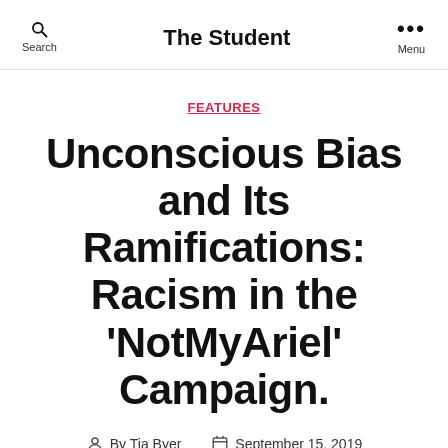The Student
FEATURES
Unconscious Bias and Its Ramifications: Racism in the ‘NotMyAriel’ Campaign.
By Tia Byer   September 15, 2019
No Comments